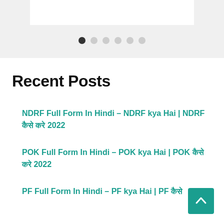[Figure (other): Carousel image placeholder at top of page]
[Figure (other): Carousel dot navigation: 6 dots, first filled/active, rest empty/grey]
Recent Posts
NDRF Full Form In Hindi – NDRF kya Hai | NDRF कैसे करे 2022
POK Full Form In Hindi – POK kya Hai | POK कैसे करे 2022
PF Full Form In Hindi – PF kya Hai | PF कैसे